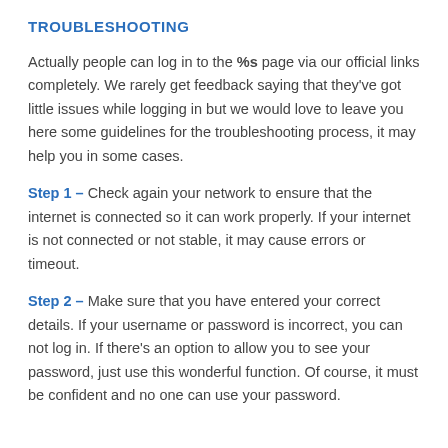TROUBLESHOOTING
Actually people can log in to the %s page via our official links completely. We rarely get feedback saying that they've got little issues while logging in but we would love to leave you here some guidelines for the troubleshooting process, it may help you in some cases.
Step 1 – Check again your network to ensure that the internet is connected so it can work properly. If your internet is not connected or not stable, it may cause errors or timeout.
Step 2 – Make sure that you have entered your correct details. If your username or password is incorrect, you can not log in. If there's an option to allow you to see your password, just use this wonderful function. Of course, it must be confident and no one can use your password.